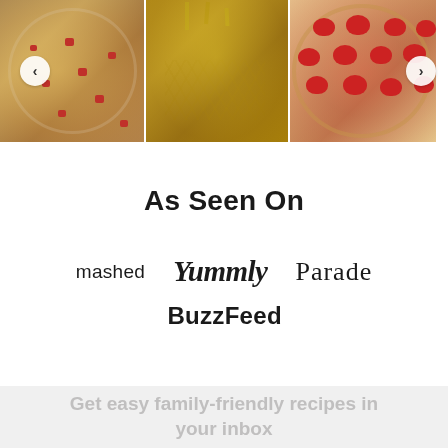[Figure (photo): Food photo carousel showing three food images: pancakes with syrup and bacon bits, a decorated yellow/golden birthday cake, and a strawberry cheesecake or flan. Left and right navigation arrows visible.]
As Seen On
[Figure (logo): Media logos: mashed, Yummly (cursive italic), Parade, BuzzFeed]
Get easy family-friendly recipes in your inbox